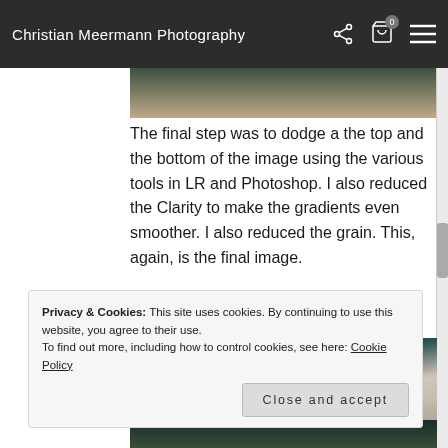Christian Meermann Photography
[Figure (photo): Top portion of a gradient photograph showing dark green to tan tones]
The final step was to dodge a the top and the bottom of the image using the various tools in LR and Photoshop. I also reduced the Clarity to make the gradients even smoother. I also reduced the grain. This, again, is the final image.
[Figure (photo): Middle portion of a photograph showing dark teal to warm beige gradient tones]
[Figure (photo): Bottom sliver of a dark photograph]
Privacy & Cookies: This site uses cookies. By continuing to use this website, you agree to their use.
To find out more, including how to control cookies, see here: Cookie Policy